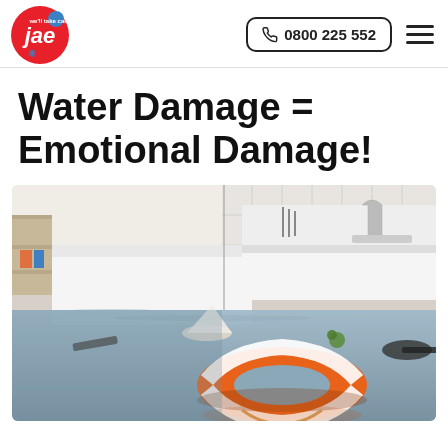JAE logo | 0800 225 552
Water Damage = Emotional Damage!
[Figure (photo): A flooded modern kitchen interior with water covering the floor. An orange and white life preserver ring sits in the foreground water, while overturned items float around. The kitchen features white cabinetry and a sink in the background.]